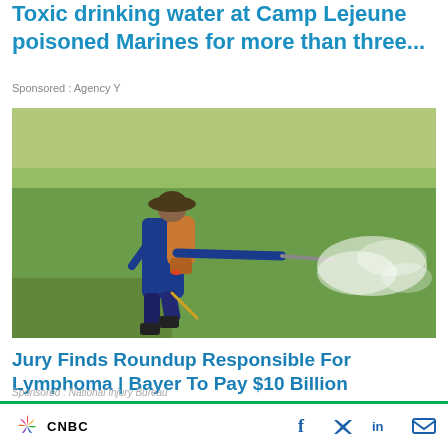Toxic drinking water at Camp Lejeune poisoned Marines for more than three...
Sponsored : Agency Y
[Figure (photo): A person wearing a wide-brim hat and blue long-sleeve shirt carrying a backpack sprayer, spraying pesticide/herbicide over a green rice paddy field. White mist spray visible on the right side.]
Jury Finds Roundup Responsible For Lymphoma | Bayer To Pay $10 Billion
Roundup exposure linked to Non-Hodgkin's Lymphoma. Bayer to pay $10 Billion Settlement. See if you qualify.
Sponsored : National Injury Bureau
CNBC  [social icons: Facebook, Twitter, LinkedIn, Email]